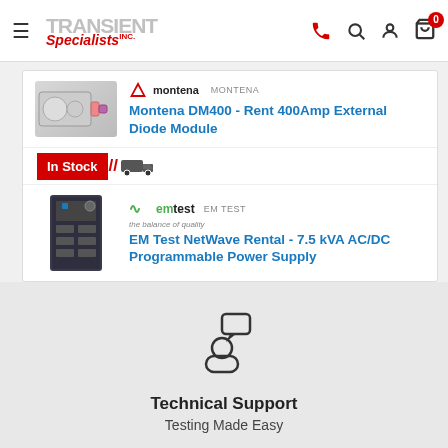TRANSIENT Specialists Inc. — navigation header with phone, search, account, cart (0)
MONTENA — Montena DM400 - Rent 400Amp External Diode Module
In Stock
EM TEST — EM Test NetWave Rental - 7.5 kVA AC/DC Programmable Power Supply
[Figure (illustration): Person with speech bubble icon representing Technical Support]
Technical Support
Testing Made Easy